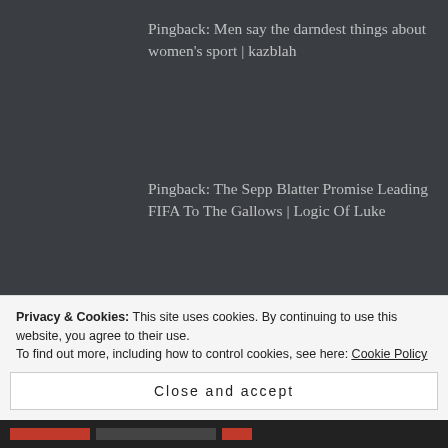Pingback: Men say the darndest things about women's sport | kazblah
Pingback: The Sepp Blatter Promise Leading FIFA To The Gallows | Logic Of Luke
RISHABH2000 says:
June 12, 2015 at 3:04 am
Privacy & Cookies: This site uses cookies. By continuing to use this website, you agree to their use.
To find out more, including how to control cookies, see here: Cookie Policy
Close and accept